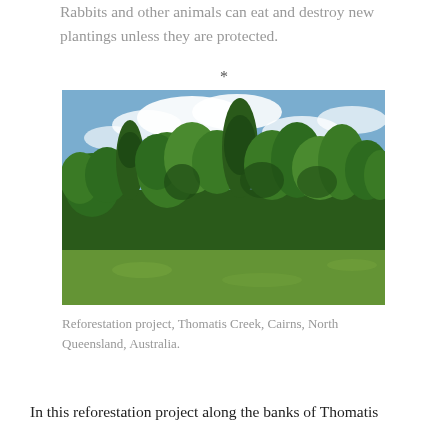Rabbits and other animals can eat and destroy new plantings unless they are protected.
*
[Figure (photo): Reforestation project showing a row of tall green trees with lush canopy against a partly cloudy blue sky, with a green grassy field in the foreground. Thomatis Creek, Cairns, North Queensland, Australia.]
Reforestation project, Thomatis Creek, Cairns, North Queensland, Australia.
In this reforestation project along the banks of Thomatis